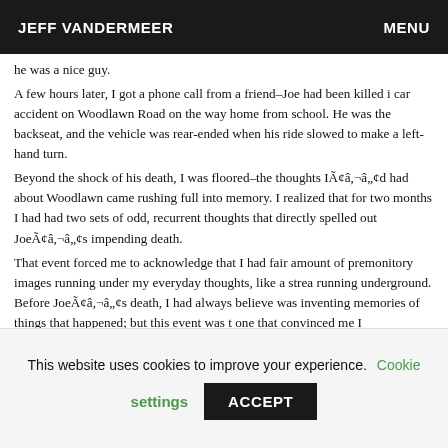JEFF VANDERMEER | MENU
he was a nice guy.
A few hours later, I got a phone call from a friend–Joe had been killed i car accident on Woodlawn Road on the way home from school. He was the backseat, and the vehicle was rear-ended when his ride slowed to make a left-hand turn.
Beyond the shock of his death, I was floored–the thoughts IÃ¢â,¬â„¢d had about Woodlawn came rushing full into memory. I realized that for two months I had had two sets of odd, recurrent thoughts that directly spelled out JoeÃ¢â,¬â„¢s impending death.
That event forced me to acknowledge that I had fair amount of premonitory images running under my everyday thoughts, like a strea running underground. Before JoeÃ¢â,¬â„¢s death, I had always believe was inventing memories of things that happened; but this event was t one that convinced me I wasnÃ¢â,¬â„¢t. Since then, IÃ¢â,¬â„¢ve lear how to coax that subconscious stream above ground. A decade later, premonitions are a regular part of my life.... But thatÃ¢â,¬â„¢s a differ
This website uses cookies to improve your experience. Cookie settings ACCEPT